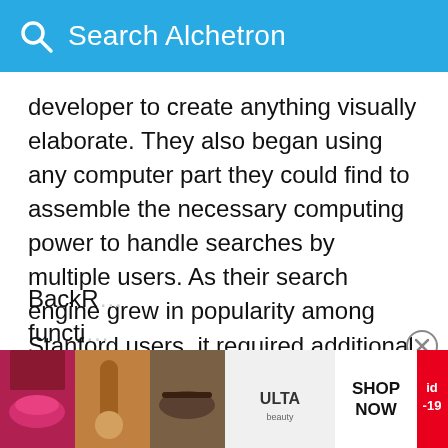Search Alchetron
developer to create anything visually elaborate. They also began using any computer part they could find to assemble the necessary computing power to handle searches by multiple users. As their search engine grew in popularity among Stanford users, it required additional servers to process the queries. In August 1996, the initial version of Google, still on the Stanford University website, was made available to Internet users.
By early 1997, the BackRub page described the state as follows:
BackR... functi... ne: a
[Figure (screenshot): Advertisement banner at the bottom showing beauty product images (lips, makeup brushes, eyes), Ulta Beauty logo, SHOP NOW text, and id-19 label in red]